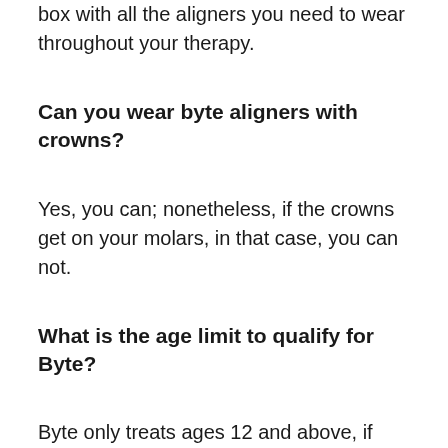box with all the aligners you need to wear throughout your therapy.
Can you wear byte aligners with crowns?
Yes, you can; nonetheless, if the crowns get on your molars, in that case, you can not.
What is the age limit to qualify for Byte?
Byte only treats ages 12 and above, if you are under 18, they will certainly request your parent's consent.
Does Byte have an app?